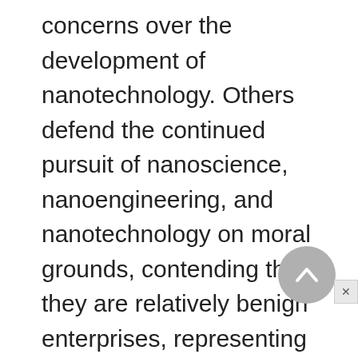concerns over the development of nanotechnology. Others defend the continued pursuit of nanoscience, nanoengineering, and nanotechnology on moral grounds, contending that they are relatively benign enterprises, representing a good and natural evolution in scientific inquiry, and further, that any restraint on development of nanotechnology will inhibit the improvement of humankind. Many important questions remain unanswered regarding the prevention